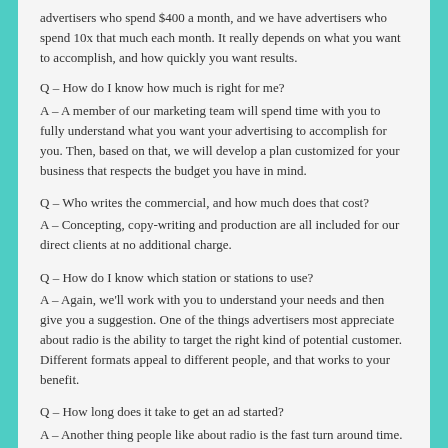advertisers who spend $400 a month, and we have advertisers who spend 10x that much each month. It really depends on what you want to accomplish, and how quickly you want results.
Q – How do I know how much is right for me?
A – A member of our marketing team will spend time with you to fully understand what you want your advertising to accomplish for you. Then, based on that, we will develop a plan customized for your business that respects the budget you have in mind.
Q – Who writes the commercial, and how much does that cost?
A – Concepting, copy-writing and production are all included for our direct clients at no additional charge.
Q – How do I know which station or stations to use?
A – Again, we'll work with you to understand your needs and then give you a suggestion. One of the things advertisers most appreciate about radio is the ability to target the right kind of potential customer. Different formats appeal to different people, and that works to your benefit.
Q – How long does it take to get an ad started?
A – Another thing people like about radio is the fast turn around time. While we do have to work through the process, we can get you started in a matter of days.